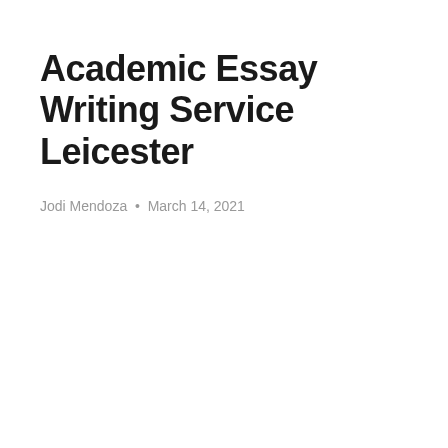Academic Essay Writing Service Leicester
Jodi Mendoza • March 14, 2021